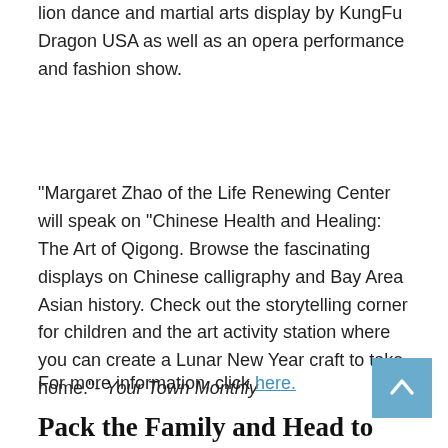lion dance and martial arts display by KungFu Dragon USA as well as an opera performance and fashion show.
“Margaret Zhao of the Life Renewing Center will speak on “Chinese Health and Healing: The Art of Qigong. Browse the fascinating displays on Chinese calligraphy and Bay Area Asian history. Check out the storytelling corner for children and the art activity station where you can create a Lunar New Year craft to take home.”- Your Town Monthly
For more information, click here.
Pack the Family and Head to the